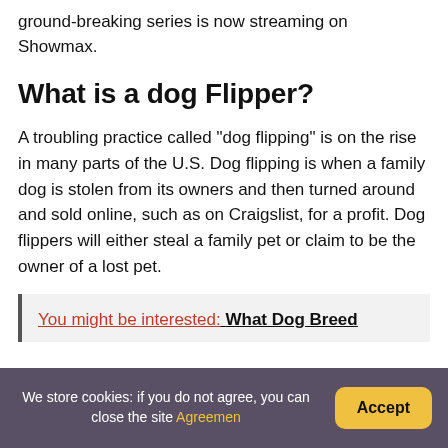ground-breaking series is now streaming on Showmax.
What is a dog Flipper?
A troubling practice called "dog flipping" is on the rise in many parts of the U.S. Dog flipping is when a family dog is stolen from its owners and then turned around and sold online, such as on Craigslist, for a profit. Dog flippers will either steal a family pet or claim to be the owner of a lost pet.
You might be interested: What Dog Breed
We store cookies: if you do not agree, you can close the site Agreemen